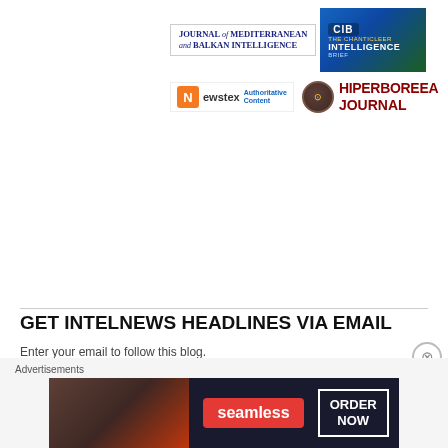[Figure (logo): Journal of Mediterranean and Balkan Intelligence logo — text in dark blue serif font]
[Figure (logo): CIB — The Chanticleer Intelligence Brief logo on dark blue/green background]
[Figure (logo): Newstex Authoritative Content logo — orange N icon with blue text]
[Figure (logo): Hiperboreea Journal logo — dark seal icon and red bold text]
GET INTELNEWS HEADLINES VIA EMAIL
Enter your email to follow this blog.
Enter your email address
Follow
Advertisements
[Figure (photo): Seamless food delivery advertisement — pizza photo on left, Seamless red logo in center, ORDER NOW box on right, dark background]